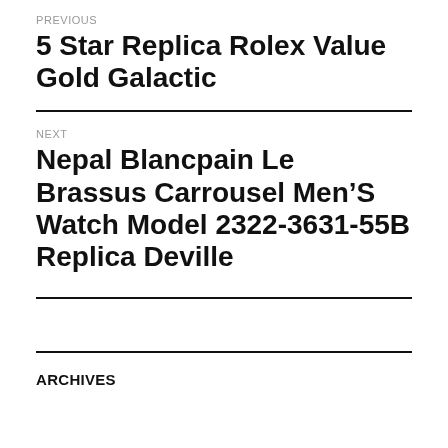PREVIOUS
5 Star Replica Rolex Value Gold Galactic
NEXT
Nepal Blancpain Le Brassus Carrousel Men’S Watch Model 2322-3631-55B Replica Deville
ARCHIVES